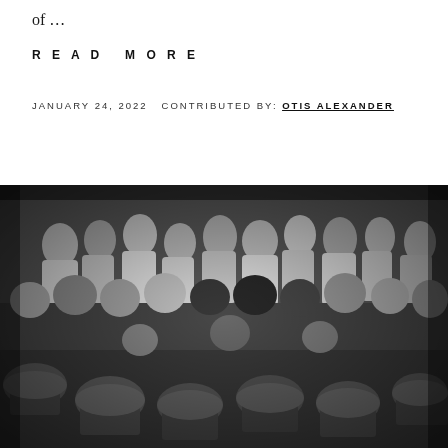of …
READ MORE
JANUARY 24, 2022  CONTRIBUTED BY: OTIS ALEXANDER
[Figure (photo): Black and white photograph of a large crowd of people, with soldiers or police wearing helmets visible in the foreground, and a dense crowd of civilians in the background.]